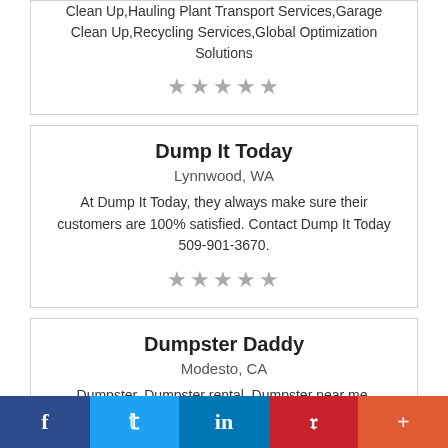Clean Up,Hauling Plant Transport Services,Garage Clean Up,Recycling Services,Global Optimization Solutions
★★★★★
Dump It Today
Lynnwood, WA
At Dump It Today, they always make sure their customers are 100% satisfied. Contact Dump It Today 509-901-3670.
★★★★★
Dumpster Daddy
Modesto, CA
Dumpster, Dumpster rental, Dumpster near me, Dumpster rentals